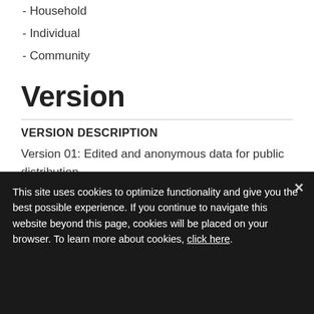- Household
- Individual
- Community
Version
VERSION DESCRIPTION
Version 01: Edited and anonymous data for public distribution.
This site uses cookies to optimize functionality and give you the best possible experience. If you continue to navigate this website beyond this page, cookies will be placed on your browser. To learn more about cookies, click here.
- ehcvm_menage_GNB2018
- ehcvm_welfare_GNB2018